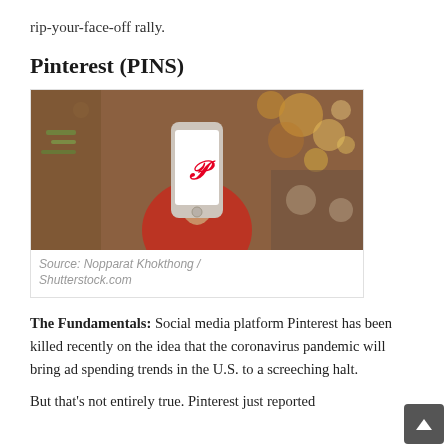rip-your-face-off rally.
Pinterest (PINS)
[Figure (photo): Person holding a smartphone displaying the Pinterest logo (red P icon) in a blurred indoor background with bokeh lights]
Source: Nopparat Khokthong / Shutterstock.com
The Fundamentals: Social media platform Pinterest has been killed recently on the idea that the coronavirus pandemic will bring ad spending trends in the U.S. to a screeching halt.
But that's not entirely true. Pinterest just reported